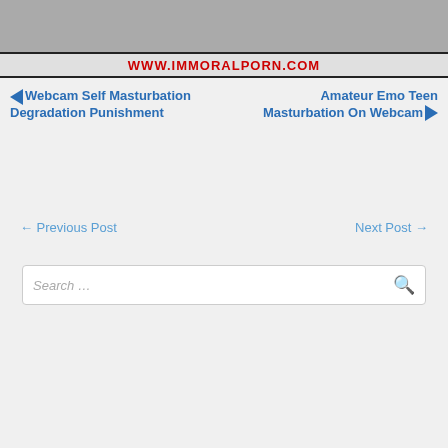[Figure (photo): Partial view of a person with a watermark bar showing WWW.IMMORALPORN.COM in red bold text on a light grey background]
◄Webcam Self Masturbation Degradation Punishment
Amateur Emo Teen Masturbation On Webcam►
← Previous Post
Next Post →
Search …